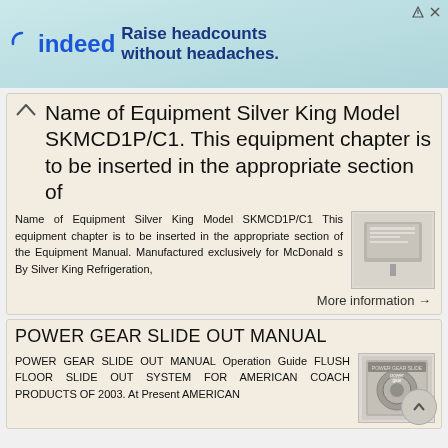[Figure (other): Indeed advertisement banner: 'Raise headcounts without headaches.']
Name of Equipment Silver King Model SKMCD1P/C1. This equipment chapter is to be inserted in the appropriate section of
Name of Equipment Silver King Model SKMCD1P/C1 This equipment chapter is to be inserted in the appropriate section of the Equipment Manual. Manufactured exclusively for McDonald s By Silver King Refrigeration,
More information →
POWER GEAR SLIDE OUT MANUAL
POWER GEAR SLIDE OUT MANUAL Operation Guide FLUSH FLOOR SLIDE OUT SYSTEM FOR AMERICAN COACH PRODUCTS OF 2003. At Present AMERICAN